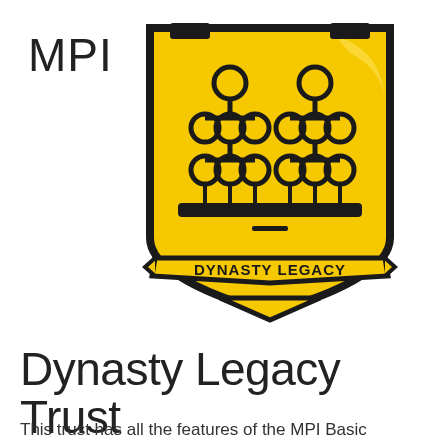MPI
[Figure (logo): Dynasty Legacy shield logo: yellow shield with two organizational/hierarchy tree icons inside, a horizontal bar at base, and a yellow banner ribbon at bottom reading DYNASTY LEGACY in bold black text.]
Dynasty Legacy Trust
This trust has all the features of the MPI Basic